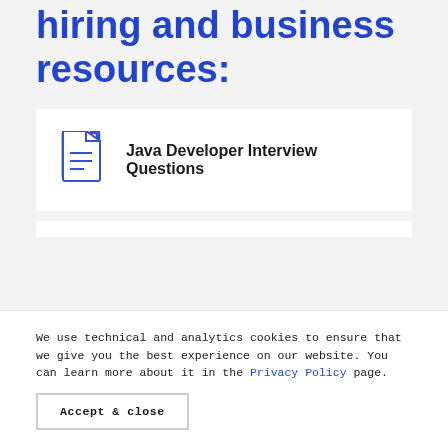hiring and business resources:
[Figure (illustration): Document icon with lines representing text, drawn in blue outline style]
Java Developer Interview Questions
We use technical and analytics cookies to ensure that we give you the best experience on our website. You can learn more about it in the Privacy Policy page.
Accept & close